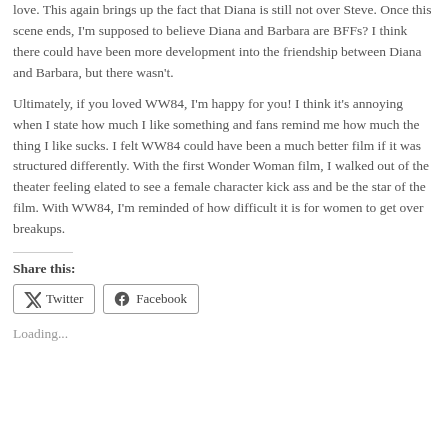love. This again brings up the fact that Diana is still not over Steve. Once this scene ends, I'm supposed to believe Diana and Barbara are BFFs? I think there could have been more development into the friendship between Diana and Barbara, but there wasn't.
Ultimately, if you loved WW84, I'm happy for you! I think it's annoying when I state how much I like something and fans remind me how much the thing I like sucks. I felt WW84 could have been a much better film if it was structured differently. With the first Wonder Woman film, I walked out of the theater feeling elated to see a female character kick ass and be the star of the film. With WW84, I'm reminded of how difficult it is for women to get over breakups.
Share this:
Twitter
Facebook
Loading...